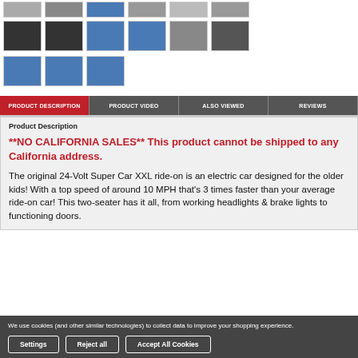[Figure (photo): Row of product thumbnail images of ride-on car from various angles, first row partial]
[Figure (photo): Second row of product thumbnail images showing dark/blue car, person with car, and more angles]
[Figure (photo): Third row of product thumbnail images showing blue ride-on car from various angles]
PRODUCT DESCRIPTION | PRODUCT VIDEO | ALSO VIEWED | REVIEWS
Product Description
**NO CALIFORNIA SALES** This product cannot be shipped to any California address.
The original 24-Volt Super Car XXL ride-on is an electric car designed for the older kids! With a top speed of around 10 MPH that’s 3 times faster than your average ride-on car! This two-seater has it all, from working headlights & brake lights to functioning doors.
We use cookies (and other similar technologies) to collect data to improve your shopping experience.
Settings | Reject all | Accept All Cookies